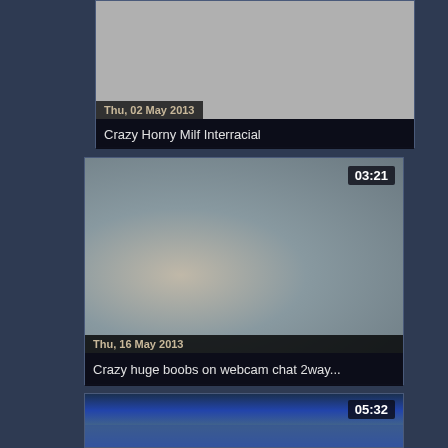[Figure (screenshot): Video thumbnail placeholder (gray) with date overlay 'Thu, 02 May 2013']
Crazy Horny Milf Interracial
[Figure (screenshot): Video thumbnail showing blurry close-up image with duration '03:21' and date overlay 'Thu, 16 May 2013']
Crazy huge boobs on webcam chat 2way...
[Figure (screenshot): Video thumbnail showing blue-toned scene with duration '05:32']